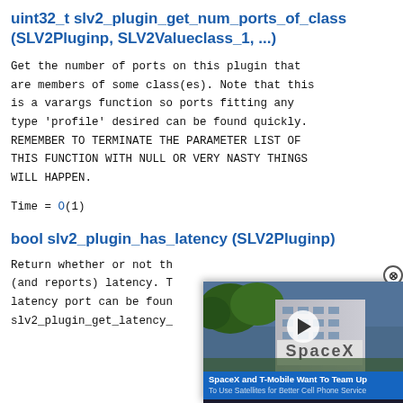uint32_t slv2_plugin_get_num_ports_of_class (SLV2Pluginp, SLV2Valueclass_1, ...)
Get the number of ports on this plugin that are members of some class(es). Note that this is a varargs function so ports fitting any type 'profile' desired can be found quickly. REMEMBER TO TERMINATE THE PARAMETER LIST OF THIS FUNCTION WITH NULL OR VERY NASTY THINGS WILL HAPPEN.
Time = O(1)
bool slv2_plugin_has_latency (SLV2Pluginp)
Return whether or not the plugin has a special latency port. The latency port can be found with slv2_plugin_get_latency_...
[Figure (screenshot): Video overlay showing SpaceX building with play button. Caption: 'SpaceX and T-Mobile Want To Team Up - To Use Satellites for Better Cell Phone Service']